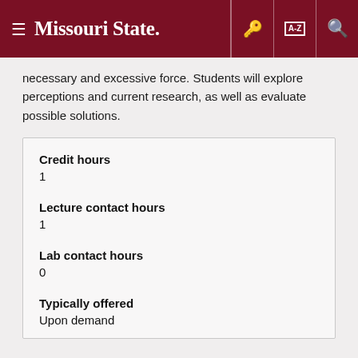Missouri State
necessary and excessive force. Students will explore perceptions and current research, as well as evaluate possible solutions.
| Credit hours | 1 |
| Lecture contact hours | 1 |
| Lab contact hours | 0 |
| Typically offered | Upon demand |